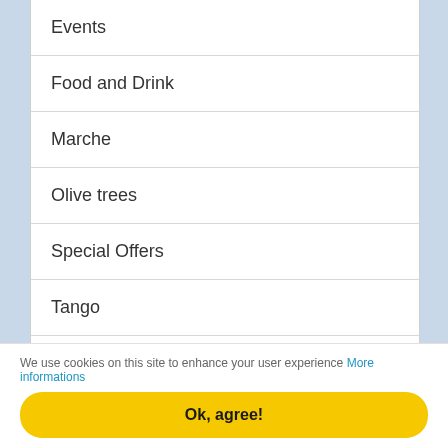Events
Food and Drink
Marche
Olive trees
Special Offers
Tango
Travel Tips
Tuscany
We use cookies on this site to enhance your user experience More informations
Ok, agree!